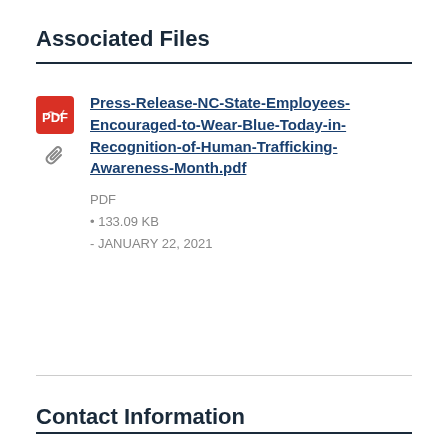Associated Files
[Figure (illustration): Red Adobe PDF icon and grey paperclip/attachment icon stacked vertically]
Press-Release-NC-State-Employees-Encouraged-to-Wear-Blue-Today-in-Recognition-of-Human-Trafficking-Awareness-Month.pdf
PDF
• 133.09 KB
- JANUARY 22, 2021
Contact Information